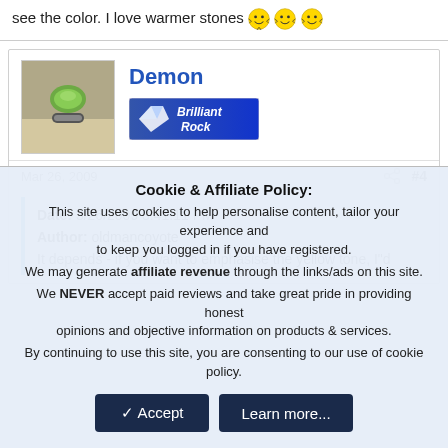see the color. I love warmer stones 😊😊😊
Demon
[Figure (logo): Brilliant Rock badge/logo with diamond image and blue background]
Mar 26, 2009
#4
Date: 3/26/2009 3:41:11 PM
Author: oldmancoyote
It depends - if you want to emphasise the yellow tone, I"d
Cookie & Affiliate Policy:
This site uses cookies to help personalise content, tailor your experience and to keep you logged in if you have registered.
We may generate affiliate revenue through the links/ads on this site.
We NEVER accept paid reviews and take great pride in providing honest opinions and objective information on products & services.
By continuing to use this site, you are consenting to our use of cookie policy.